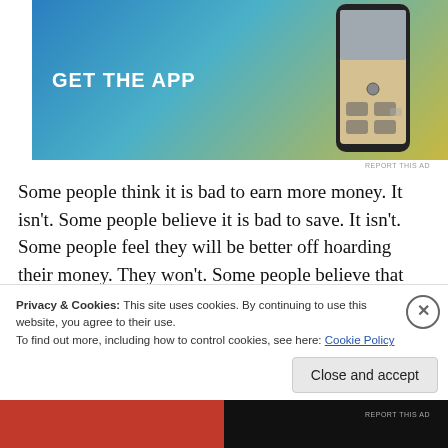[Figure (other): Advertisement banner with 'GET THE APP' text on a blue-to-yellow gradient background, with a phone mockup on the right side]
Some people think it is bad to earn more money. It isn't. Some people believe it is bad to save. It isn't. Some people feel they will be better off hoarding their money. They won't. Some people believe that they can't spend anything on themselves. They can. That is financial freedom.
Embrace delayed gratification. We have the option to
Privacy & Cookies: This site uses cookies. By continuing to use this website, you agree to their use.
To find out more, including how to control cookies, see here: Cookie Policy
Close and accept